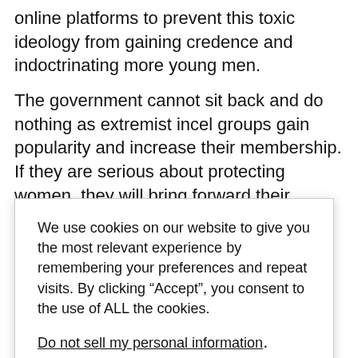online platforms to prevent this toxic ideology from gaining credence and indoctrinating more young men.
The government cannot sit back and do nothing as extremist incel groups gain popularity and increase their membership. If they are serious about protecting women, they will bring forward their Online Harms Bill and commit to taking genuine steps to tackle violent misogynistic online hate groups.
We use cookies on our website to give you the most relevant experience by remembering your preferences and repeat visits. By clicking “Accept”, you consent to the use of ALL the cookies.
Do not sell my personal information.
atham.
s are talking ail for the latest s, policy-makers and organisations.